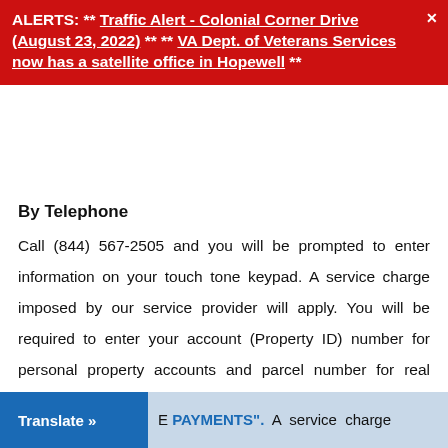ALERTS: ** Traffic Alert - Colonial Corner Drive (August 23, 2022) ** ** VA Dept. of Veterans Services now has a satellite office in Hopewell **
By Telephone
Call (844) 567-2505 and you will be prompted to enter information on your touch tone keypad. A service charge imposed by our service provider will apply. You will be required to enter your account (Property ID) number for personal property accounts and parcel number for real estate accounts located on the front of your bill.
Pay Online
Translate » E PAYMENTS". A service charge